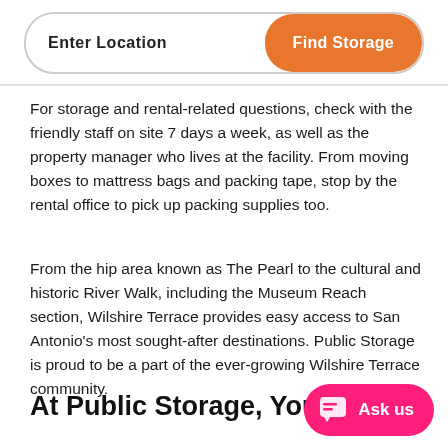[Figure (screenshot): Search bar with 'Enter Location' placeholder text and an orange 'Find Storage' button on the right]
For storage and rental-related questions, check with the friendly staff on site 7 days a week, as well as the property manager who lives at the facility. From moving boxes to mattress bags and packing tape, stop by the rental office to pick up packing supplies too.
From the hip area known as The Pearl to the cultural and historic River Walk, including the Museum Reach section, Wilshire Terrace provides easy access to San Antonio's most sought-after destinations. Public Storage is proud to be a part of the ever-growing Wilshire Terrace community.
At Public Storage, You'll Always Find...
[Figure (other): Pink 'Ask us' chat button in bottom right corner]